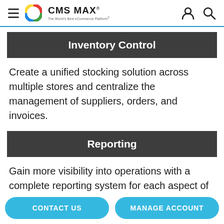CMS MAX – The World's Best eCommerce Platform
Inventory Control
Create a unified stocking solution across multiple stores and centralize the management of suppliers, orders, and invoices.
Reporting
Gain more visibility into operations with a complete reporting system for each aspect of centralized store management.
CONTACT US   MANAGE ACCOUNT